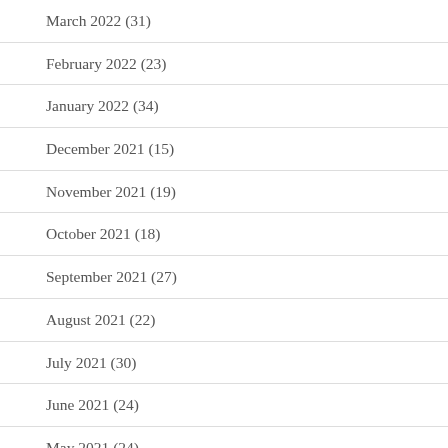March 2022 (31)
February 2022 (23)
January 2022 (34)
December 2021 (15)
November 2021 (19)
October 2021 (18)
September 2021 (27)
August 2021 (22)
July 2021 (30)
June 2021 (24)
May 2021 (24)